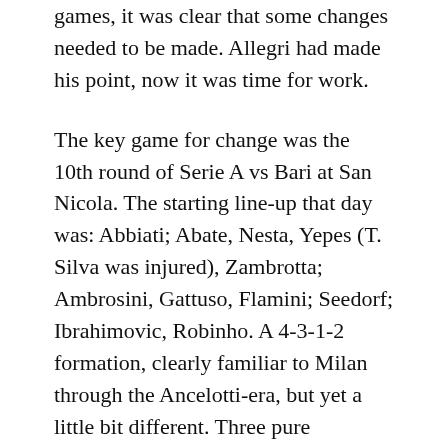games, it was clear that some changes needed to be made. Allegri had made his point, now it was time for work.
The key game for change was the 10th round of Serie A vs Bari at San Nicola. The starting line-up that day was: Abbiati; Abate, Nesta, Yepes (T. Silva was injured), Zambrotta; Ambrosini, Gattuso, Flamini; Seedorf; Ibrahimovic, Robinho. A 4-3-1-2 formation, clearly familiar to Milan through the Ancelotti-era, but yet a little bit different. Three pure defensive midfielders were used, with the anchor in midfield (usually Pirlo under Ancelotti) a player with defensive skills primarily. Milan would maintain this shape for the rest of the season with great success, and the defensive